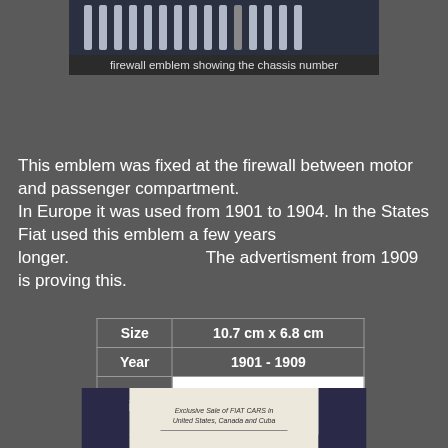[Figure (photo): Firewall emblem showing vertical metallic bars/chassis number plate]
firewall emblem showing the chassis number
This emblem was fixed at the firewall between motor and passenger compartment. In Europe it was used from 1901 to 1904. In the States Fiat used this emblem a few years longer. The advertisment from 1909 is proving this.
| Size | 10.7 cm x 6.8 cm |
| Year | 1901 - 1909 |
| Estimate | ★★★★★ |
[Figure (photo): Advertisement document showing 'Exclusive Sale of FIAT CARS in United States, Canada and Cuba']